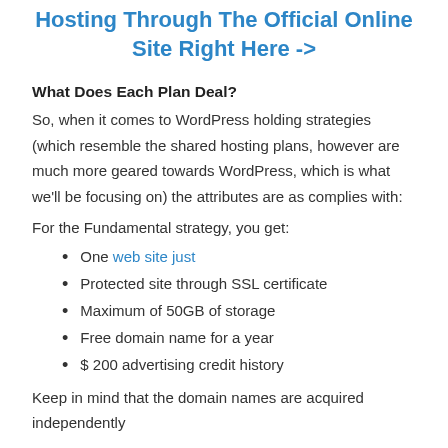Hosting Through The Official Online Site Right Here ->
What Does Each Plan Deal?
So, when it comes to WordPress holding strategies (which resemble the shared hosting plans, however are much more geared towards WordPress, which is what we'll be focusing on) the attributes are as complies with:
For the Fundamental strategy, you get:
One web site just
Protected site through SSL certificate
Maximum of 50GB of storage
Free domain name for a year
$ 200 advertising credit history
Keep in mind that the domain names are acquired independently